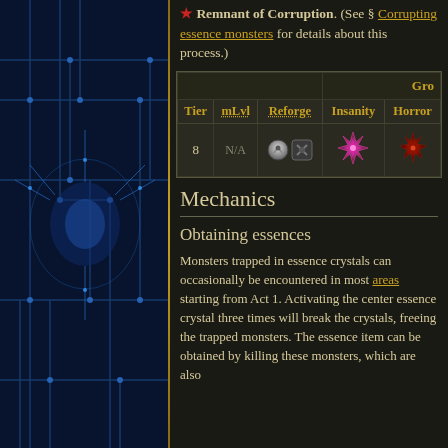★ Remnant of Corruption. (See § Corrupting essence monsters for details about this process.)
| Tier | mLvl | Reforge | Insanity | Horror |
| --- | --- | --- | --- | --- |
| 8 | N/A | [icons] | [icon] | [icon] |
Mechanics
Obtaining essences
Monsters trapped in essence crystals can occasionally be encountered in most areas starting from Act 1. Activating the center essence crystal three times will break the crystals, freeing the trapped monsters. The essence item can be obtained by killing these monsters, which are also